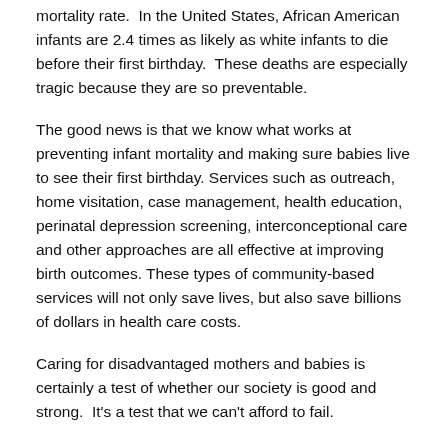mortality rate.  In the United States, African American infants are 2.4 times as likely as white infants to die before their first birthday.  These deaths are especially tragic because they are so preventable.
The good news is that we know what works at preventing infant mortality and making sure babies live to see their first birthday. Services such as outreach, home visitation, case management, health education, perinatal depression screening, interconceptional care and other approaches are all effective at improving birth outcomes. These types of community-based services will not only save lives, but also save billions of dollars in health care costs.
Caring for disadvantaged mothers and babies is certainly a test of whether our society is good and strong.  It's a test that we can't afford to fail.